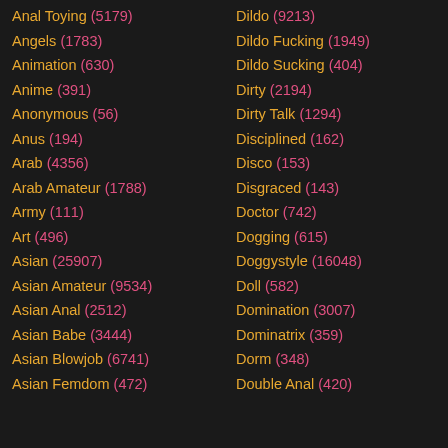Anal Toying (5179)
Angels (1783)
Animation (630)
Anime (391)
Anonymous (56)
Anus (194)
Arab (4356)
Arab Amateur (1788)
Army (111)
Art (496)
Asian (25907)
Asian Amateur (9534)
Asian Anal (2512)
Asian Babe (3444)
Asian Blowjob (6741)
Asian Femdom (472)
Dildo (9213)
Dildo Fucking (1949)
Dildo Sucking (404)
Dirty (2194)
Dirty Talk (1294)
Disciplined (162)
Disco (153)
Disgraced (143)
Doctor (742)
Dogging (615)
Doggystyle (16048)
Doll (582)
Domination (3007)
Dominatrix (359)
Dorm (348)
Double Anal (420)